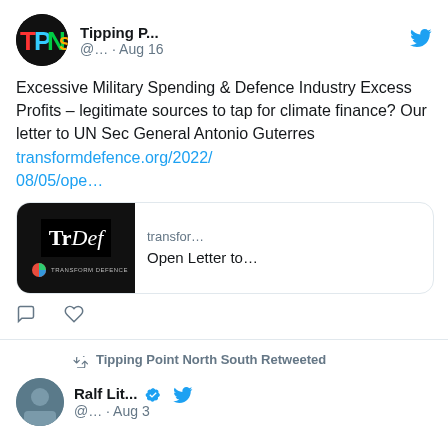[Figure (screenshot): Twitter/social media screenshot showing two tweets. First tweet from Tipping P... (@... · Aug 16) with Twitter bird icon, text about Excessive Military Spending & Defence Industry Excess Profits – legitimate sources to tap for climate finance? Our letter to UN Sec General Antonio Guterres, a link transformdefence.org/2022/08/05/ope…, and a link preview card showing TrDef logo and 'Open Letter to…'. Below is a retweet section showing 'Tipping Point North South Retweeted' with a retweet icon, followed by Ralf Lit... (verified) @... · Aug 3 with Twitter bird icon.]